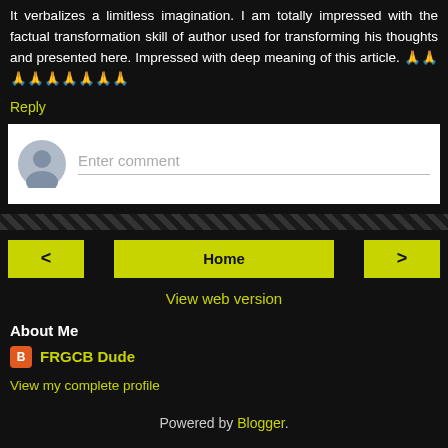It verbalizes a limitless imagination. I am totally impressed with the factual transformation skill of author used for transforming his thoughts and presented here. Impressed with deep meaning of this article. 🙏🙏🙏🙏🙏🙏🙏🙏🙏
Reply
[Figure (screenshot): Comment input box with avatar circle and placeholder text 'Enter comment']
Home
View web version
About Me
FRGCB Dude
View my complete profile
Powered by Blogger.